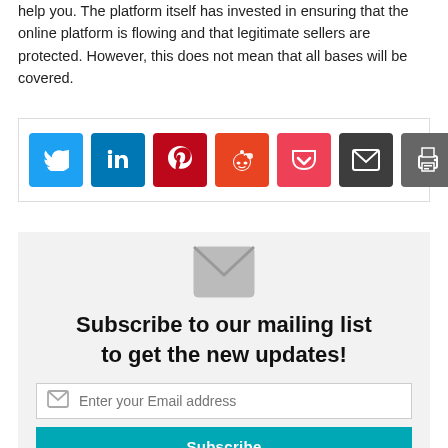help you. The platform itself has invested in ensuring that the online platform is flowing and that legitimate sellers are protected. However, this does not mean that all bases will be covered.
[Figure (infographic): Social sharing buttons: Twitter (blue), LinkedIn (dark blue), Pinterest (red), Reddit (orange-red), Pocket (pink-red), Email (dark grey), Print (grey)]
[Figure (infographic): Email subscription widget with a large envelope icon, heading 'Subscribe to our mailing list to get the new updates!', an email input field, and a teal Subscribe button.]